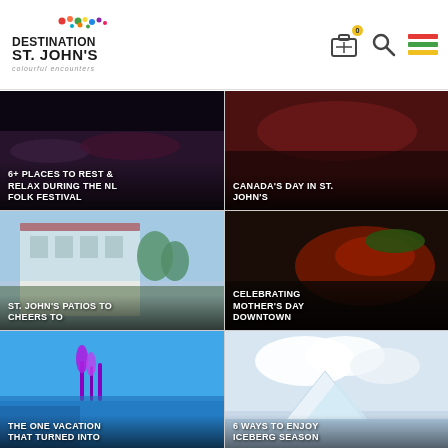[Figure (screenshot): Destination St. John's website header with logo and navigation icons (bag, search, menu)]
[Figure (photo): Dark concert crowd photo with overlay text: 6+ PLACES TO REST & RELAX DURING THE NL FOLK FESTIVAL]
[Figure (photo): Dark red crowd/event photo with overlay text: CANADA'S DAY IN ST. JOHN'S]
[Figure (photo): Building exterior patio photo with overlay text: ST. JOHN'S PATIOS TO CHEERS TO]
[Figure (photo): Lobster dish food photo with overlay text: CELEBRATING MOTHER'S DAY DOWNTOWN]
[Figure (photo): Coastal landscape with flowers photo with overlay text: THE ONE VACATION THAT TURNED INTO]
[Figure (photo): Iceberg and clouds photo with overlay text: 6 WAYS TO ENJOY ICEBERG SEASON]